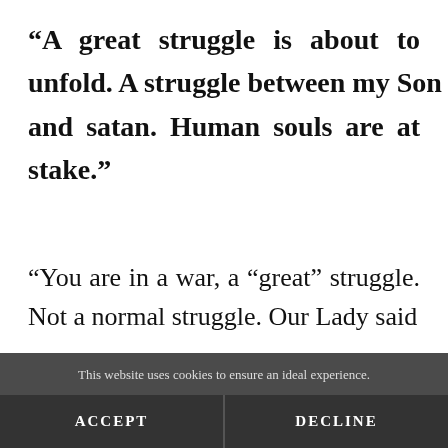“A great struggle is about to unfold. A struggle between my Son and satan. Human souls are at stake.”
“You are in a war, a “great” struggle. Not a normal struggle. Our Lady said
This website uses cookies to ensure an ideal experience.
ACCEPT
DECLINE